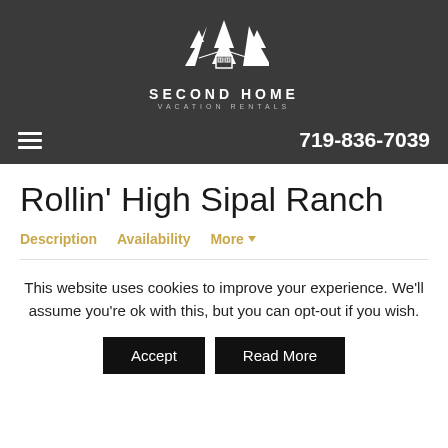[Figure (logo): Second Home Vacation Rentals logo with pine trees and house icon above text]
719-836-7039
Rollin' High Sipal Ranch
Description
Availability
More
This website uses cookies to improve your experience. We'll assume you're ok with this, but you can opt-out if you wish.
Accept
Read More